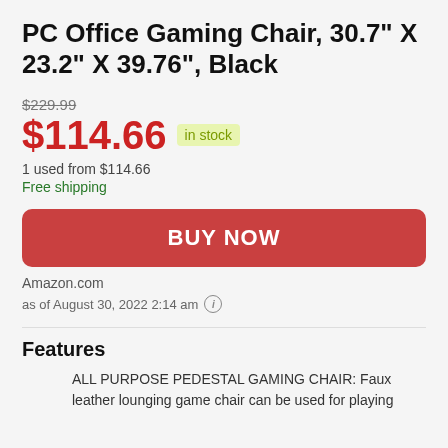PC Office Gaming Chair, 30.7" X 23.2" X 39.76", Black
$229.99 (strikethrough original price)
$114.66 in stock
1 used from $114.66
Free shipping
BUY NOW
Amazon.com
as of August 30, 2022 2:14 am (i)
Features
ALL PURPOSE PEDESTAL GAMING CHAIR: Faux leather lounging game chair can be used for playing